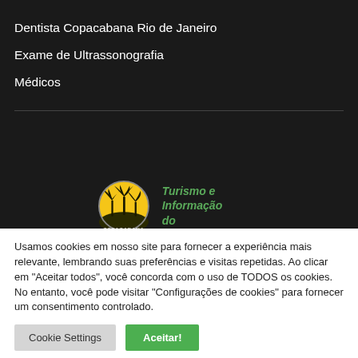Dentista Copacabana Rio de Janeiro
Exame de Ultrassonografia
Médicos
[Figure (logo): Copacabana logo with palm trees and a yellow/orange sunburst circle, with text 'Turismo e Informação do' in green beside it]
Usamos cookies em nosso site para fornecer a experiência mais relevante, lembrando suas preferências e visitas repetidas. Ao clicar em "Aceitar todos", você concorda com o uso de TODOS os cookies. No entanto, você pode visitar "Configurações de cookies" para fornecer um consentimento controlado.
Cookie Settings | Aceitar!